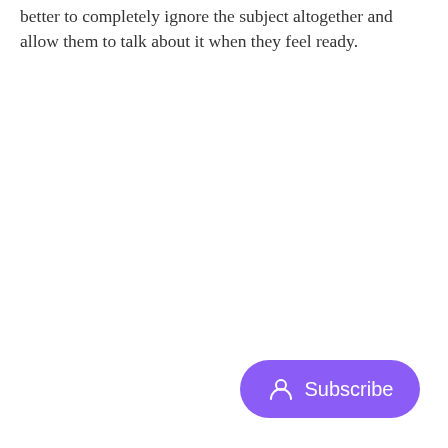better to completely ignore the subject altogether and allow them to talk about it when they feel ready.
[Figure (other): A purple rounded pill-shaped Subscribe button with a person/user icon on the left and the text 'Subscribe' in white on the right.]